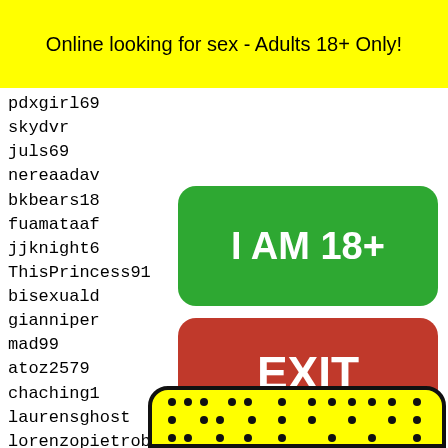Online looking for sex - Adults 18+ Only!
pdxgirl69
skydvr
juls69
nereaadav
bkbears18
fuamataaf
jjknight6
ThisPrincess91
bisexuald
gianniper
mad99
atoz2579
chaching1
laurensghost
lorenzopietrobonn
kjhg89
gumbysaurusrex
emanueldikuvk 16530 16531 16532 16533 16534
alexslaton
BABYGI
shagma
makspo
kayeRo
xjulij
barbie
[Figure (other): Green button with text I AM 18+]
[Figure (other): Red EXIT button]
[Figure (other): Snapchat ghost QR code partially visible at bottom]